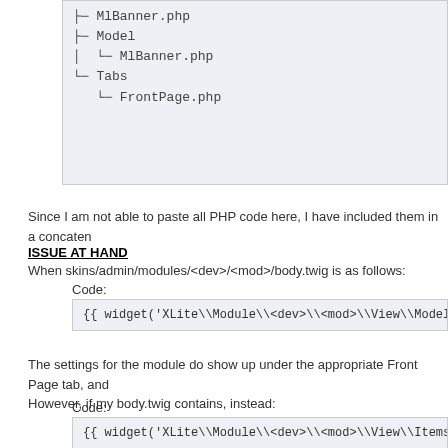[Figure (other): Directory tree showing MlBanner.php, Model folder with MlBanner.php, Tabs folder with FrontPage.php]
Since I am not able to paste all PHP code here, I have included them in a concaten
ISSUE AT HAND
When skins/admin/modules/<dev>/<mod>/body.twig is as follows:
Code:
{{ widget('XLite\Module\<dev>\<mod>\View\Model\MlBa
The settings for the module do show up under the appropriate Front Page tab, and
However, if my body.twig contains, instead:
Code:
{{ widget('XLite\Module\<dev>\<mod>\View\ItemsList\